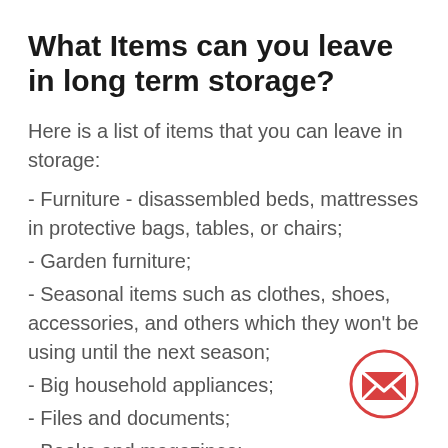What Items can you leave in long term storage?
Here is a list of items that you can leave in storage:
- Furniture - disassembled beds, mattresses in protective bags, tables, or chairs;
- Garden furniture;
- Seasonal items such as clothes, shoes, accessories, and others which they won't be using until the next season;
- Big household appliances;
- Files and documents;
- Books and magazines;
- Artwork pieces;
What items you can't leave in long
[Figure (illustration): Red circle with an envelope/mail icon inside, indicating a contact or email button]